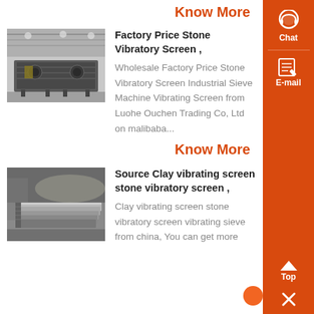Know More
[Figure (photo): Industrial vibratory screen machine in a factory setting]
Factory Price Stone Vibratory Screen ,
Wholesale Factory Price Stone Vibratory Screen Industrial Sieve Machine Vibrating Screen from Luohe Ouchen Trading Co, Ltd on malibaba...
Know More
[Figure (photo): Clay vibrating screen / stone vibratory screen metal plates stacked in factory]
Source Clay vibrating screen stone vibratory screen ,
Clay vibrating screen stone vibratory screen vibrating sieve from china, You can get more